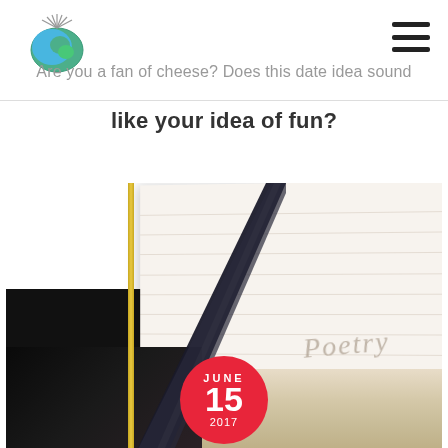[Figure (logo): Globe/earth logo with decorative elements]
Are you a fan of cheese? Does this date idea sound like your idea of fun?
like your idea of fun?
[Figure (photo): Close-up photo of an open poetry notebook/journal with a dark feather quill pen resting on the pages. The word 'Poetry' is written in cursive on the right page. A date badge overlay shows JUNE 15 2017 in red circle at the bottom center.]